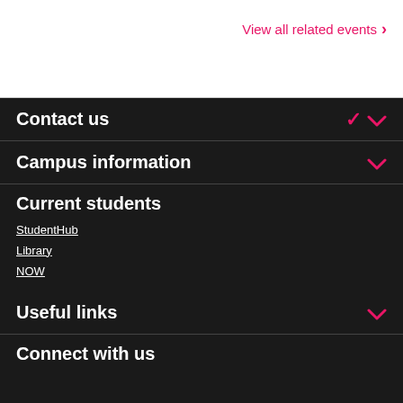View all related events ›
Contact us
Campus information
Current students
StudentHub
Library
NOW
Useful links
Connect with us